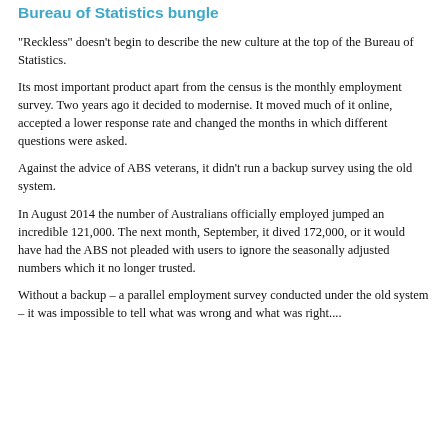Bureau of Statistics bungle
"Reckless" doesn't begin to describe the new culture at the top of the Bureau of Statistics.
Its most important product apart from the census is the monthly employment survey. Two years ago it decided to modernise. It moved much of it online, accepted a lower response rate and changed the months in which different questions were asked.
Against the advice of ABS veterans, it didn't run a backup survey using the old system.
In August 2014 the number of Australians officially employed jumped an incredible 121,000. The next month, September, it dived 172,000, or it would have had the ABS not pleaded with users to ignore the seasonally adjusted numbers which it no longer trusted.
Without a backup – a parallel employment survey conducted under the old system – it was impossible to tell what was wrong and what was right....